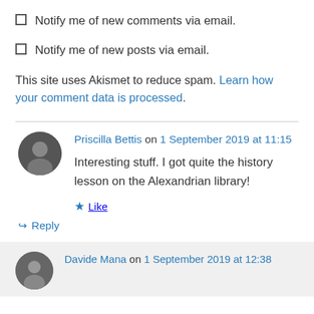Notify me of new comments via email.
Notify me of new posts via email.
This site uses Akismet to reduce spam. Learn how your comment data is processed.
Priscilla Bettis on 1 September 2019 at 11:15
Interesting stuff. I got quite the history lesson on the Alexandrian library!
Like
Reply
Davide Mana on 1 September 2019 at 12:38